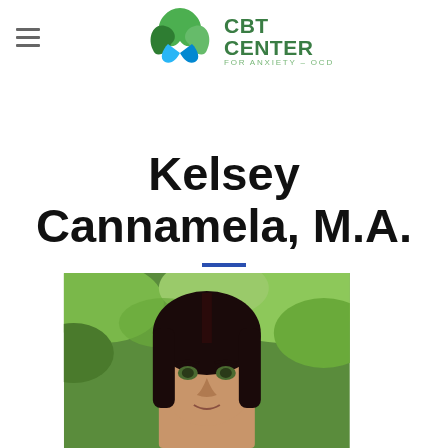CBT CENTER FOR ANXIETY – OCD
Kelsey Cannamela, M.A.
[Figure (photo): Headshot photo of Kelsey Cannamela, a woman with long dark hair, outdoors with green foliage in background]